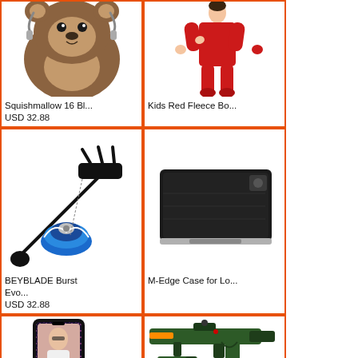[Figure (photo): Squishmallow 16 inch brown bear plush toy]
Squishmallow 16 Bl...
USD 32.88
[Figure (photo): Kids Red Fleece footed pajama onesie worn by child mannequin]
Kids Red Fleece Bo...
[Figure (photo): BEYBLADE Burst Evolution set with launcher and spinning top]
BEYBLADE Burst Evo...
USD 32.88
[Figure (photo): M-Edge black case for Logitech keyboard or tablet]
M-Edge Case for Lo...
[Figure (photo): Glitter sparkle phone case for iPhone X with woman photo]
[Figure (photo): Green toy military rifle and pistol weapon set with accessories]